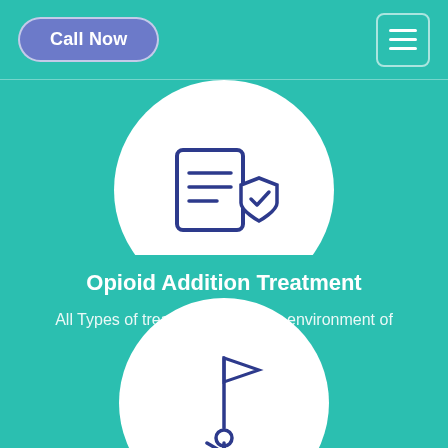Call Now
[Figure (illustration): A white circle on teal background containing a dark blue line-art icon of a checklist/document with a checkmark shield badge]
Opioid Addition Treatment
All Types of treatment in healthy environment of Tehachapi, CA
[Figure (illustration): A white circle on teal background containing a dark blue line-art icon of a person climbing/raising a flag on a mountain or hill]